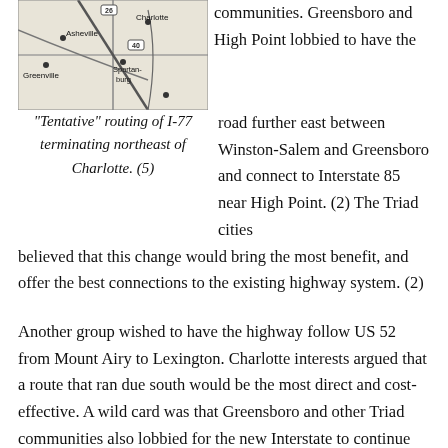[Figure (map): A road map showing Asheville, Greenville, Charlotte, Spartanburg, and surrounding areas with interstate highway routes including I-77.]
"Tentative" routing of I-77 terminating northeast of Charlotte. (5)
communities.  Greensboro and High Point lobbied to have the road further east between Winston-Salem and Greensboro and connect to Interstate 85 near High Point. (2)  The Triad cities believed that this change would bring the most benefit, and offer the best connections to the existing highway system. (2)
Another group wished to have the highway follow US 52 from Mount Airy to Lexington.  Charlotte interests argued that a route that ran due south would be the most direct and cost-effective.  A wild card was that Greensboro and other Triad communities also lobbied for the new Interstate to continue further to the south and east to